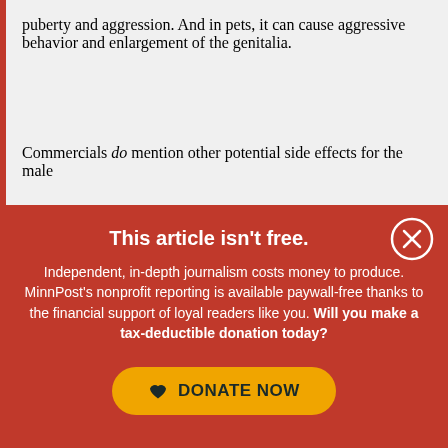puberty and aggression. And in pets, it can cause aggressive behavior and enlargement of the genitalia.
Commercials do mention other potential side effects for the male
This article isn't free.
Independent, in-depth journalism costs money to produce. MinnPost's nonprofit reporting is available paywall-free thanks to the financial support of loyal readers like you. Will you make a tax-deductible donation today?
DONATE NOW